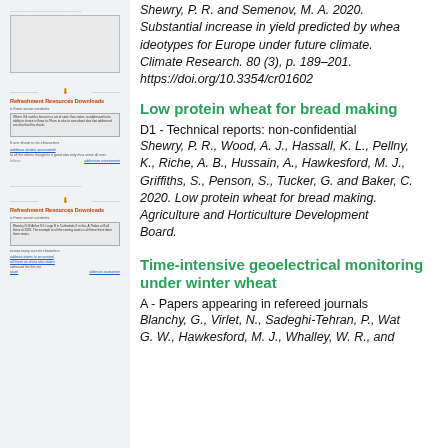[Figure (screenshot): Thumbnail of a research document page (top left panel)]
Shewry, P. R. and Semenov, M. A. 2020. Substantial increase in yield predicted by wheat ideotypes for Europe under future climate. Climate Research. 80 (3), p. 189–201. https://doi.org/10.3354/cr01602
[Figure (screenshot): Thumbnail of a research document page (middle left panel)]
Low protein wheat for bread making
D1 - Technical reports: non-confidential
Shewry, P. R., Wood, A. J., Hassall, K. L., Pellny, K., Riche, A. B., Hussain, A., Hawkesford, M. J., Griffiths, S., Penson, S., Tucker, G. and Baker, C. 2020. Low protein wheat for bread making. Agriculture and Horticulture Development Board.
[Figure (screenshot): Thumbnail of a research document page (bottom left panel)]
Time-intensive geoelectrical monitoring under winter wheat
A - Papers appearing in refereed journals
Blanchy, G., Virlet, N., Sadeghi-Tehran, P., Wat... G. W., Hawkesford, M. J., Whalley, W. R., and